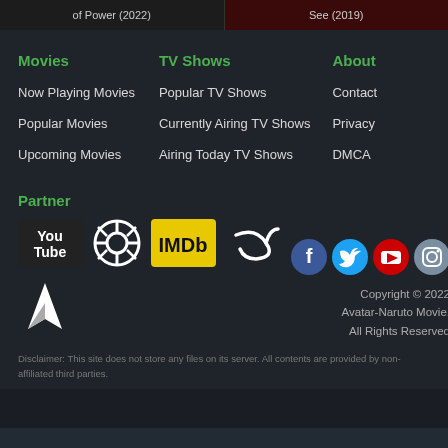of Power (2022) | See (2019)
Movies
Now Playing Movies
Popular Movies
Upcoming Movies
TV Shows
Popular TV Shows
Currently Airing TV Shows
Airing Today TV Shows
About
Contact
Privacy
DMCA
Partner
[Figure (logo): Partner logos: YouTube, Iris/lens, IMDb, Vimeo, site logo]
[Figure (logo): Social media icons: Facebook, Twitter, YouTube, Instagram]
Copyright © 2022 Avatar-Naruto Movie. All Rights Reserved
Disclaimer: This site does not store any files on its server. All contents are provided by non-affiliated third parties.